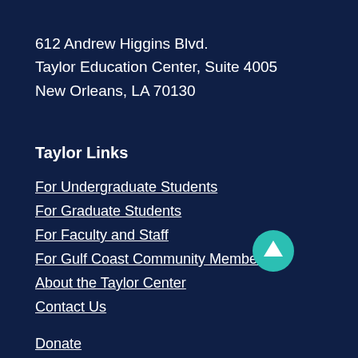612 Andrew Higgins Blvd.
Taylor Education Center, Suite 4005
New Orleans, LA 70130
Taylor Links
For Undergraduate Students
For Graduate Students
For Faculty and Staff
For Gulf Coast Community Members
About the Taylor Center
Contact Us
Donate
[Figure (illustration): Teal circular button with white upward-pointing arrow icon (scroll to top button)]